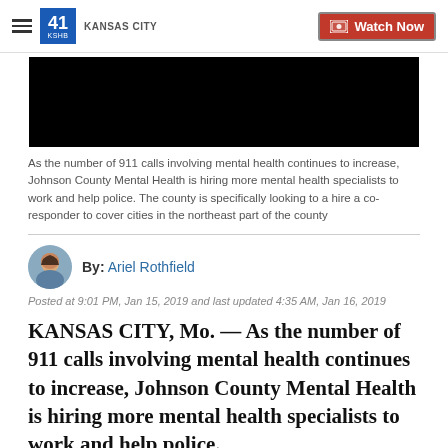41 KSHB KANSAS CITY | Watch Now
[Figure (photo): Black video thumbnail placeholder]
As the number of 911 calls involving mental health continues to increase, Johnson County Mental Health is hiring more mental health specialists to work and help police. The county is specifically looking to a hire a co-responder to cover cities in the northeast part of the county
By: Ariel Rothfield
Posted at 9:01 PM, Jan 15, 2019 and last updated 4:35 AM, Jan 16, 2019
KANSAS CITY, Mo. — As the number of 911 calls involving mental health continues to increase, Johnson County Mental Health is hiring more mental health specialists to work and help police.